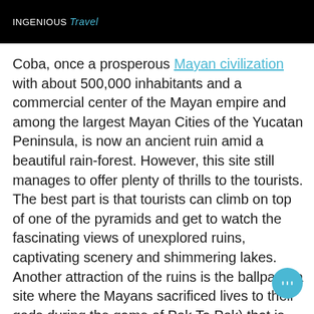INGENIOUS Travel
Coba, once a prosperous Mayan civilization with about 500,000 inhabitants and a commercial center of the Mayan empire and among the largest Mayan Cities of the Yucatan Peninsula, is now an ancient ruin amid a beautiful rain-forest. However, this site still manages to offer plenty of thrills to the tourists. The best part is that tourists can climb on top of one of the pyramids and get to watch the fascinating views of unexplored ruins, captivating scenery and shimmering lakes. Another attraction of the ruins is the ballpark (a site where the Mayans sacrificed lives to their gods during the game of Pok Ta Pok) that is about the size as a modern day football field. The mesmerizing